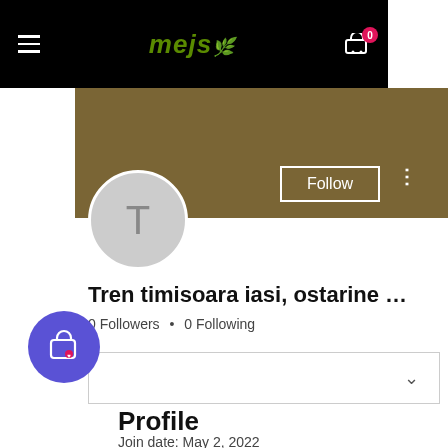MEJS — navigation header with hamburger menu and cart (0 items)
[Figure (photo): User profile cover photo — dark olive/brown solid color background]
Follow
[Figure (illustration): User avatar circle with letter T on grey background]
Tren timisoara iasi, ostarine ...
0 Followers • 0 Following
[Figure (screenshot): Dropdown selection box with chevron/arrow]
Profile
Join date: May 2, 2022